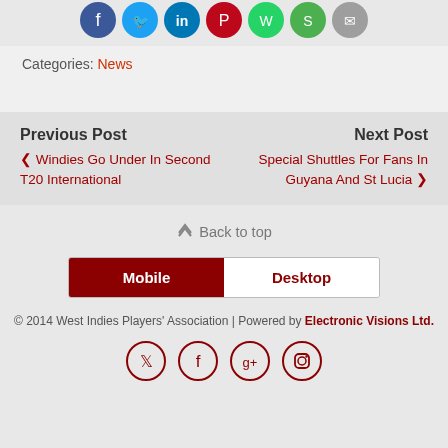[Figure (illustration): Row of colorful social sharing icon circles at top (Facebook, Twitter, LinkedIn, Pinterest, WhatsApp, green share, grey share)]
Categories: News
Previous Post
< Windies Go Under In Second T20 International
Next Post
Special Shuttles For Fans In Guyana And St Lucia >
^ Back to top
Mobile | Desktop
© 2014 West Indies Players' Association | Powered by Electronic Visions Ltd.
[Figure (illustration): Four social media icon circles outlined in dark red: Twitter, Facebook, Google+, Instagram]